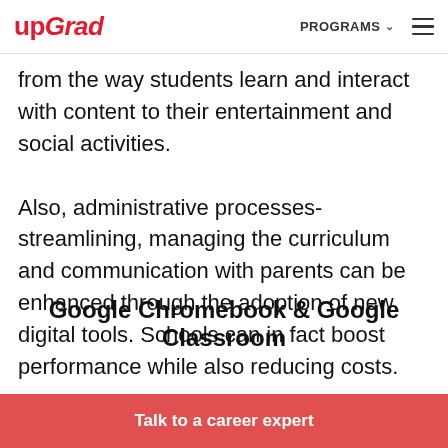upGrad | PROGRAMS ☰
from the way students learn and interact with content to their entertainment and social activities. Also, administrative processes- streamlining, managing the curriculum and communication with parents can be enhanced through the adoption of new digital tools. Schools can in fact boost performance while also reducing costs.
Google Chromebook & Google Classroom
Talk to a career expert